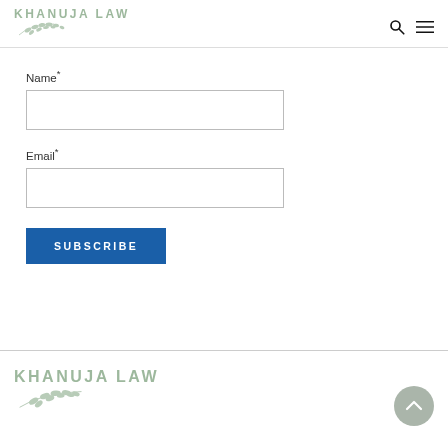KHANUJA LAW
Name*
Email*
SUBSCRIBE
KHANUJA LAW